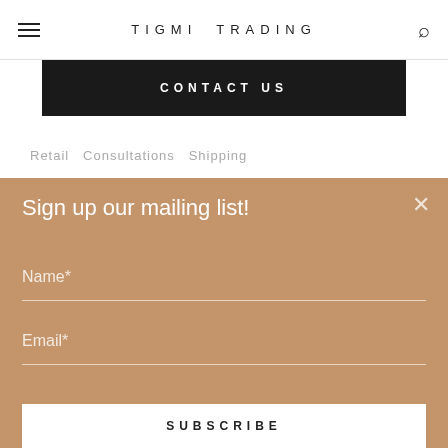TIGMI TRADING
CONTACT US
Sign up our mailing list!
Name*
Email*
SUBSCRIBE